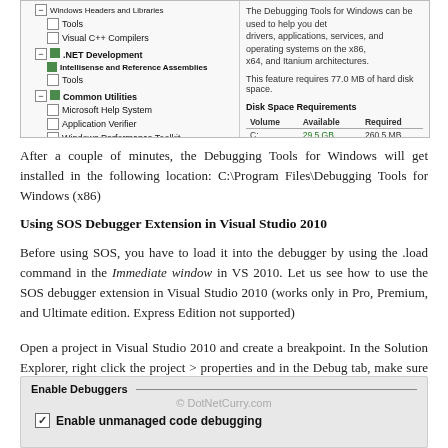[Figure (screenshot): Windows SDK setup dialog showing feature tree with .NET Development, Common Utilities, Debugging Tools for Windows selected (highlighted blue), and Disk Space Requirements table showing Volume C: with 29.5 GB available and 260.5 MB required.]
After a couple of minutes, the Debugging Tools for Windows will get installed in the following location: C:\Program Files\Debugging Tools for Windows (x86)
Using SOS Debugger Extension in Visual Studio 2010
Before using SOS, you have to load it into the debugger by using the .load command in the Immediate window in VS 2010. Let us see how to use the SOS debugger extension in Visual Studio 2010 (works only in Pro, Premium, and Ultimate edition. Express Edition not supported)
Open a project in Visual Studio 2010 and create a breakpoint. In the Solution Explorer, right click the project > properties and in the Debug tab, make sure the ‘Enable unmanaged code debugging’ is checked.
[Figure (screenshot): Visual Studio project properties Debug tab showing Enable Debuggers section with Enable unmanaged code debugging checkbox checked. Watermark: © DotNetCurry.com]